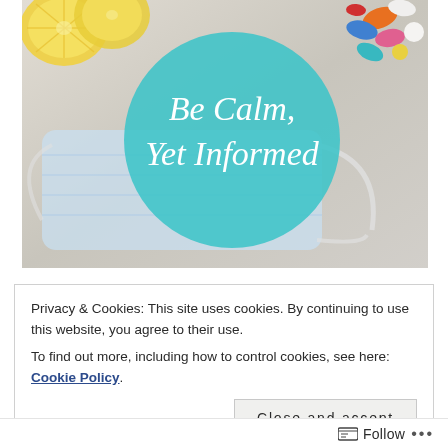[Figure (photo): Photo of a blue face mask, lemon slices (top-left), and colorful pills/capsules (top-right) on a light gray surface. A large teal circle is overlaid in the center with italic white text reading 'Be Calm, Yet Informed'.]
Privacy & Cookies: This site uses cookies. By continuing to use this website, you agree to their use.
To find out more, including how to control cookies, see here: Cookie Policy
Close and accept
Follow